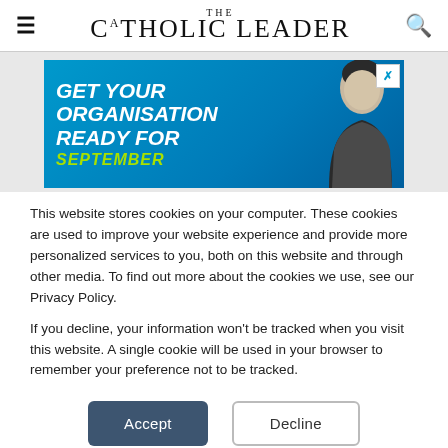THE Catholic Leader
[Figure (illustration): Advertisement banner with blue background reading GET YOUR ORGANISATION READY FOR SEPTEMBER with a young man in dark clothing on the right side. Close button (X) in top right corner.]
This website stores cookies on your computer. These cookies are used to improve your website experience and provide more personalized services to you, both on this website and through other media. To find out more about the cookies we use, see our Privacy Policy.
If you decline, your information won't be tracked when you visit this website. A single cookie will be used in your browser to remember your preference not to be tracked.
Accept   Decline